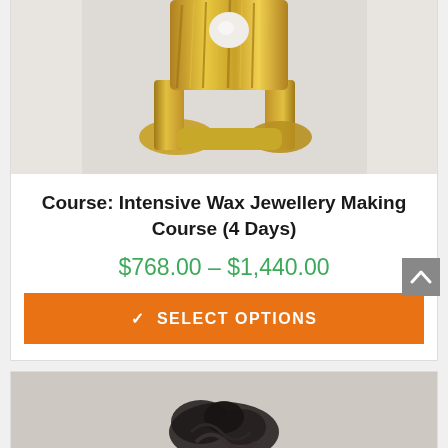[Figure (photo): Gold ring with pearl/stone setting, textured bark-like gold band, photographed on white background - top portion cropped]
Course: Intensive Wax Jewellery Making Course (4 Days)
$768.00 – $1,440.00
✓ SELECT OPTIONS
[Figure (photo): Dark metal sculptural ring or jewellery piece, partially visible at bottom of page]